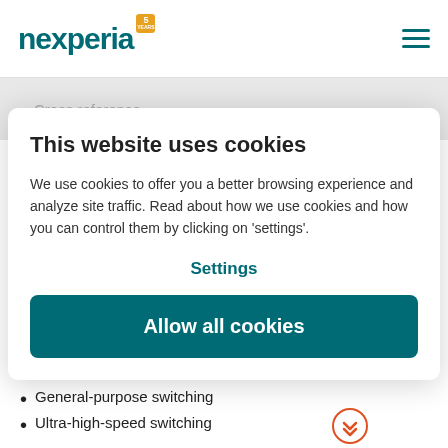nexperia [5 years logo] [hamburger menu]
Cross reference
This website uses cookies
We use cookies to offer you a better browsing experience and analyze site traffic. Read about how we use cookies and how you can control them by clicking on 'settings'.
Settings
Allow all cookies
Key applications
General-purpose switching
Ultra-high-speed switching